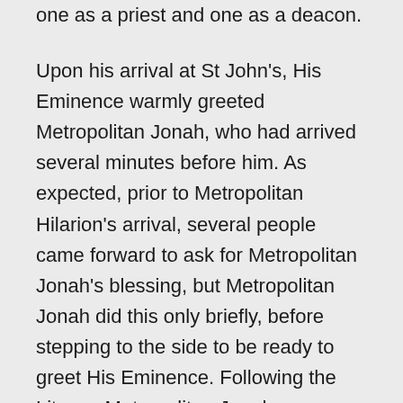one as a priest and one as a deacon.
Upon his arrival at St John's, His Eminence warmly greeted Metropolitan Jonah, who had arrived several minutes before him. As expected, prior to Metropolitan Hilarion's arrival, several people came forward to ask for Metropolitan Jonah's blessing, but Metropolitan Jonah did this only briefly, before stepping to the side to be ready to greet His Eminence. Following the Liturgy, Metropolitan Jonah was seated at the raised table in the parish hall next to His